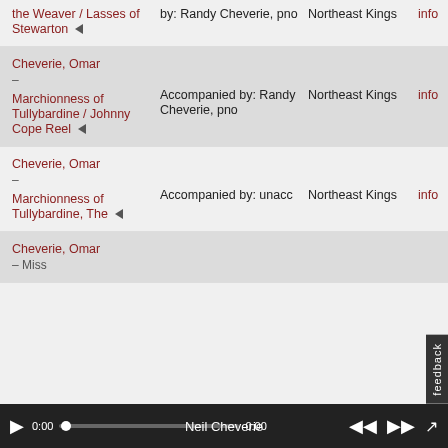| Title | Performed By | Collection |  |
| --- | --- | --- | --- |
| the Weaver / Lasses of Stewarton ◄ | by: Randy Cheverie, pno | Northeast Kings | info |
| Cheverie, Omar –
Marchionness of Tullybardine / Johnny Cope Reel ◄ | Accompanied by: Randy Cheverie, pno | Northeast Kings | info |
| Cheverie, Omar –
Marchionness of Tullybardine, The ◄ | Accompanied by: unacc | Northeast Kings | info |
| Cheverie, Omar – Miss |  |  |  |
feedback
Neil Cheverie 0:00 0:00